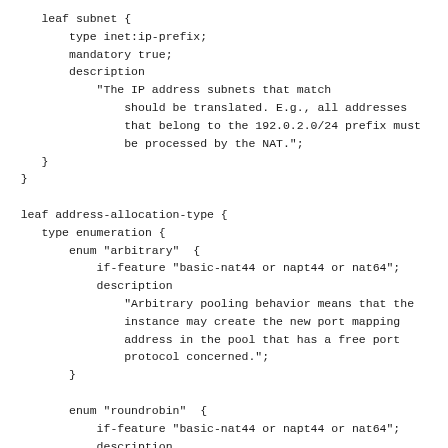leaf subnet {
    type inet:ip-prefix;
    mandatory true;
    description
        "The IP address subnets that match
            should be translated. E.g., all addresses
            that belong to the 192.0.2.0/24 prefix must
            be processed by the NAT.";
}
leaf address-allocation-type {
    type enumeration {
        enum "arbitrary"  {
            if-feature "basic-nat44 or napt44 or nat64";
            description
                "Arbitrary pooling behavior means that the
                instance may create the new port mapping
                address in the pool that has a free port
                protocol concerned.";
        }
        enum "roundrobin"  {
            if-feature "basic-nat44 or napt44 or nat64";
            description
                "Round robin allocation.";
        }
        enum "paired"  {